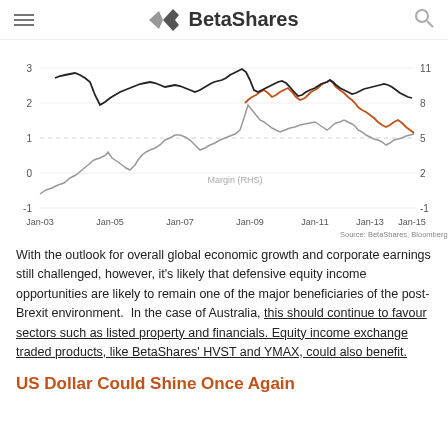BetaShares
[Figure (line-chart): Multi-line chart showing financial metrics from Jan-03 to Jan-15+. Three lines: black line (top, LHS scale 0-3), orange/rust line (middle, LHS scale), and grey line (bottom/middle area). RHS axis shows values -1 to 11. Left axis shows -1 to 3. X-axis labels: Jan-03, Jan-05, Jan-07, Jan-09, Jan-11, Jan-13, Jan-15. Label 'Margin (RHS)' appears in chart area. Source: BetaShares, Bloomberg.]
With the outlook for overall global economic growth and corporate earnings still challenged, however, it's likely that defensive equity income opportunities are likely to remain one of the major beneficiaries of the post-Brexit environment.  In the case of Australia, this should continue to favour sectors such as listed property and financials. Equity income exchange traded products, like BetaShares' HVST and YMAX, could also benefit.
US Dollar Could Shine Once Again